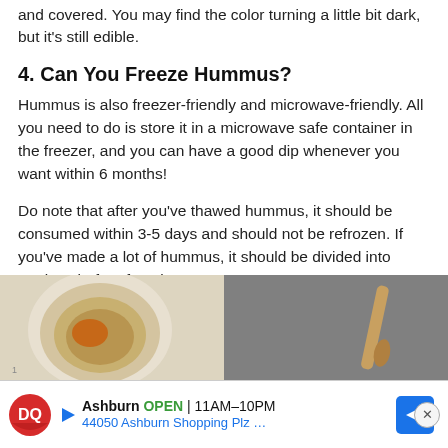and covered. You may find the color turning a little bit dark, but it's still edible.
4. Can You Freeze Hummus?
Hummus is also freezer-friendly and microwave-friendly. All you need to do is store it in a microwave safe container in the freezer, and you can have a good dip whenever you want within 6 months!
Do note that after you've thawed hummus, it should be consumed within 3-5 days and should not be refrozen. If you've made a lot of hummus, it should be divided into portions before freezing.
[Figure (photo): Two side-by-side food photos: left shows a bowl of hummus with spices, right shows a dark textured surface with a wooden utensil]
[Figure (infographic): Dairy Queen advertisement banner: Ashburn OPEN 11AM-10PM, 44050 Ashburn Shopping Plz ...]